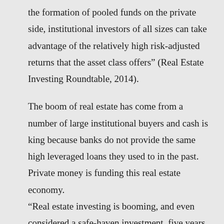the formation of pooled funds on the private side, institutional investors of all sizes can take advantage of the relatively high risk-adjusted returns that the asset class offers" (Real Estate Investing Roundtable, 2014).
The boom of real estate has come from a number of large institutional buyers and cash is king because banks do not provide the same high leveraged loans they used to in the past. Private money is funding this real estate economy. “Real estate investing is booming, and even considered a safe-haven investment, five years after the housing market bust, Reuters reported. Figures from Lipper show assets under management in property funds around the world increased by $29.8 billion in the first nine months of this year to $452.6